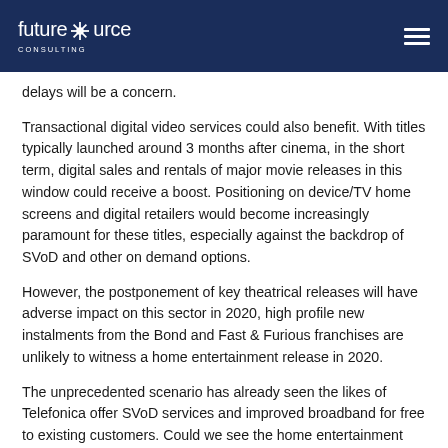futuresource CONSULTING
delays will be a concern.
Transactional digital video services could also benefit. With titles typically launched around 3 months after cinema, in the short term, digital sales and rentals of major movie releases in this window could receive a boost. Positioning on device/TV home screens and digital retailers would become increasingly paramount for these titles, especially against the backdrop of SVoD and other on demand options.
However, the postponement of key theatrical releases will have adverse impact on this sector in 2020, high profile new instalments from the Bond and Fast & Furious franchises are unlikely to witness a home entertainment release in 2020.
The unprecedented scenario has already seen the likes of Telefonica offer SVoD services and improved broadband for free to existing customers. Could we see the home entertainment industry also provide more unorthodox short-